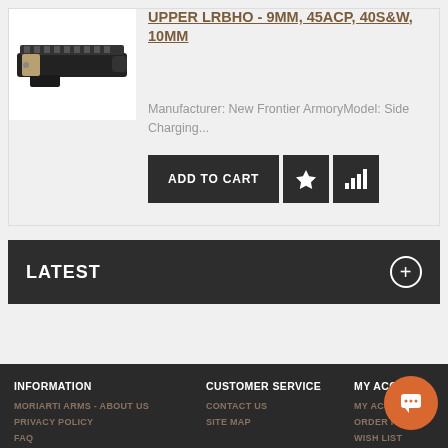[Figure (photo): Photo of a black rifle upper receiver component (LRBHO upper)]
UPPER LRBHO - 9MM, 45ACP, 40S&W, 10MM
Manufacturer: New Frontier ArmoryModel: Side Charging...
ADD TO CART
LATEST
INFORMATION | CUSTOMER SERVICE | MY ACCOUNT
MORIARTI ARMS - ABOUT US | CONTACT US | MY ACC...
PRIVACY POLICY | SITE MAP | ORDER HI...
FAQ | | WISH LIST